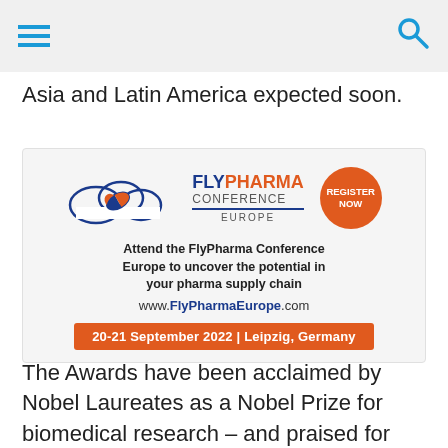navigation bar with hamburger menu and search icon
Asia and Latin America expected soon.
[Figure (infographic): FlyPharma Conference Europe logo with cloud and pill graphic, orange 'Register Now' circle button, tagline 'Attend the FlyPharma Conference Europe to uncover the potential in your pharma supply chain', URL www.FlyPharmaEurope.com, orange date bar '20-21 September 2022 | Leipzig, Germany']
The Awards have been acclaimed by Nobel Laureates as a Nobel Prize for biomedical research – and praised for their prestige and